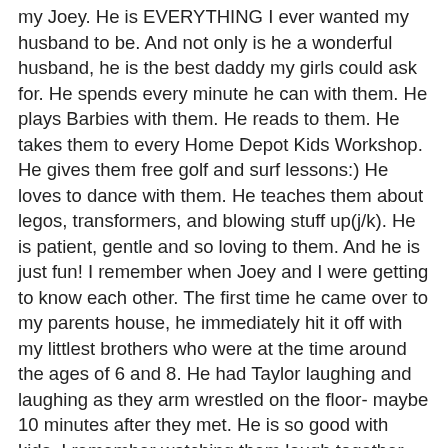my Joey. He is EVERYTHING I ever wanted my husband to be. And not only is he a wonderful husband, he is the best daddy my girls could ask for. He spends every minute he can with them. He plays Barbies with them. He reads to them. He takes them to every Home Depot Kids Workshop. He gives them free golf and surf lessons:) He loves to dance with them. He teaches them about legos, transformers, and blowing stuff up(j/k). He is patient, gentle and so loving to them. And he is just fun! I remember when Joey and I were getting to know each other. The first time he came over to my parents house, he immediately hit it off with my littlest brothers who were at the time around the ages of 6 and 8. He had Taylor laughing and laughing as they arm wrestled on the floor- maybe 10 minutes after they met. He is so good with kids. I remember watching them laugh together and seeing how quickly my brothers loved him and thinking-he is the one! :) He fit right in with my family and I know they all immediately loved him as I did. Joey, thank you for being so awesome. There are days when I just watch you on the couch as you read to the kids in your silly voices. I just smile and know I found the perfect man for me. And the perfect father for my children. We hope you enjoyed breakfast. . .